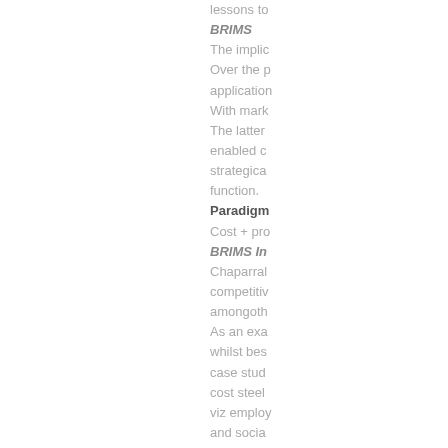lessons to...
BRIMS
The implic...
Over the p...
application...
With mark...
The latter...
enabled c...
strategica...
function.
Paradigm...
Cost + pro...
BRIMS In...
Chaparral...
competitiv...
amongoth...
As an exa...
whilst bes...
case stud...
cost steel...
viz employ...
and socia...
Cost Spe...